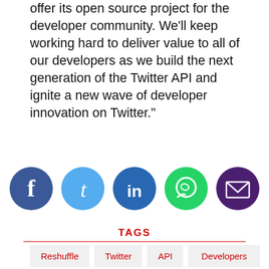offer its open source project for the developer community. We'll keep working hard to deliver value to all of our developers as we build the next generation of the Twitter API and ignite a new wave of developer innovation on Twitter."
[Figure (infographic): Five circular social media share icons in a row: Facebook (dark blue), Twitter (light blue), LinkedIn (dark blue), WhatsApp (green), Email (dark purple)]
TAGS
Reshuffle
Twitter
API
Developers
Terms of Use | Privacy Policy
[Figure (screenshot): Advertisement: Research Document Automation Tools. Legal Software. Yahoo! Search]